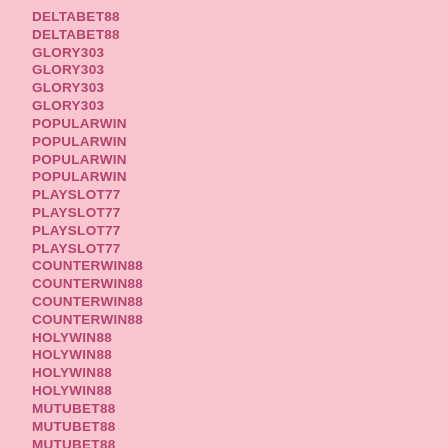DELTABET88
DELTABET88
GLORY303
GLORY303
GLORY303
GLORY303
POPULARWIN
POPULARWIN
POPULARWIN
POPULARWIN
PLAYSLOT77
PLAYSLOT77
PLAYSLOT77
PLAYSLOT77
COUNTERWIN88
COUNTERWIN88
COUNTERWIN88
COUNTERWIN88
HOLYWIN88
HOLYWIN88
HOLYWIN88
HOLYWIN88
MUTUBET88
MUTUBET88
MUTUBET88